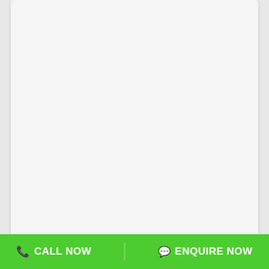Empire Holdings
Experience: 5 Years Years
Completed Projects:
CALL NOW  |  ENQUIRE NOW